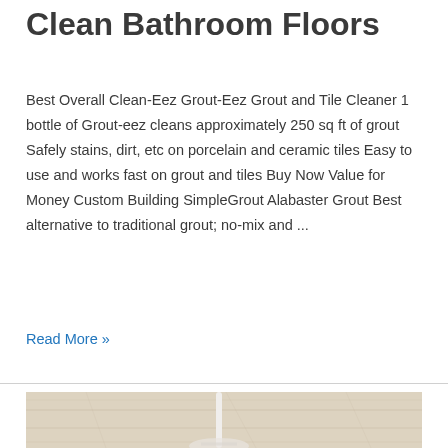Clean Bathroom Floors
Best Overall Clean-Eez Grout-Eez Grout and Tile Cleaner 1 bottle of Grout-eez cleans approximately 250 sq ft of grout Safely stains, dirt, etc on porcelain and ceramic tiles Easy to use and works fast on grout and tiles Buy Now Value for Money Custom Building SimpleGrout Alabaster Grout Best alternative to traditional grout; no-mix and ...
Read More »
[Figure (photo): Photo of a mop or cleaning tool on a light wooden floor, partially visible at the bottom of the page]